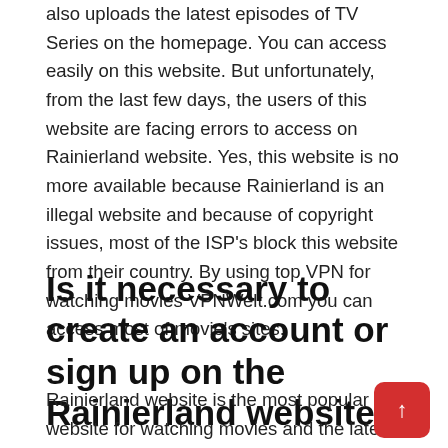also uploads the latest episodes of TV Series on the homepage. You can access easily on this website. But unfortunately, from the last few days, the users of this website are facing errors to access on Rainierland website. Yes, this website is no more available because Rainierland is an illegal website and because of copyright issues, most of the ISP's block this website from their country. By using top VPN for watching movies VPNWelt.com you can access most of movie's sites.
Is it necessary to create an account or sign up on the Rainierland website?
Rainierland website is the most popular website for watching movies and the latest TV shows online for